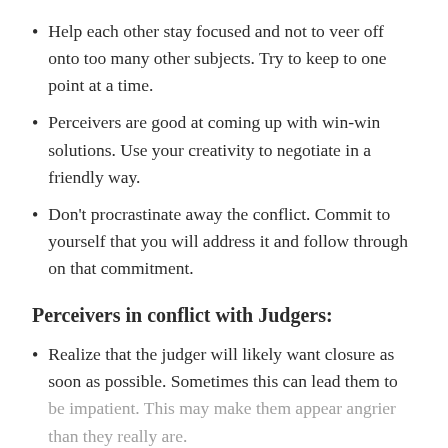Help each other stay focused and not to veer off onto too many other subjects. Try to keep to one point at a time.
Perceivers are good at coming up with win-win solutions. Use your creativity to negotiate in a friendly way.
Don't procrastinate away the conflict. Commit to yourself that you will address it and follow through on that commitment.
Perceivers in conflict with Judgers:
Realize that the judger will likely want closure as soon as possible. Sometimes this can lead them to be impatient. This may make them appear angrier than they really are.